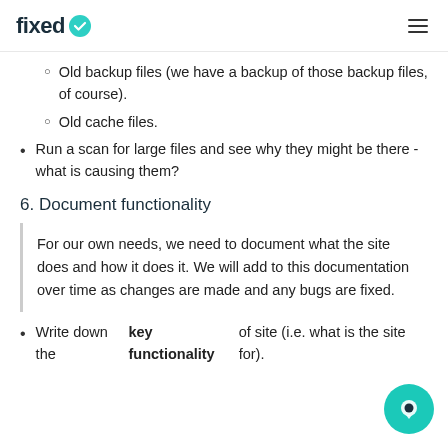fixed
Old backup files (we have a backup of those backup files, of course).
Old cache files.
Run a scan for large files and see why they might be there - what is causing them?
6. Document functionality
For our own needs, we need to document what the site does and how it does it. We will add to this documentation over time as changes are made and any bugs are fixed.
Write down the key functionality of site (i.e. what is the site for).